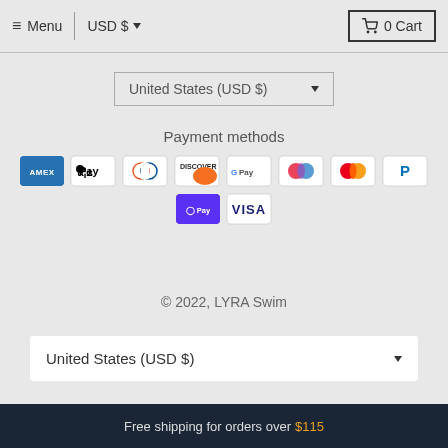≡ Menu | USD $ ▾   🛒 0 Cart
United States (USD $) ▾
Payment methods
[Figure (other): Payment method icons: American Express, Apple Pay, Diners Club, Discover, Google Pay, Multicolor circle, Mastercard, PayPal, Shop Pay, Visa]
© 2022, LYRA Swim
United States (USD $) ▾
Free shipping for orders over $115